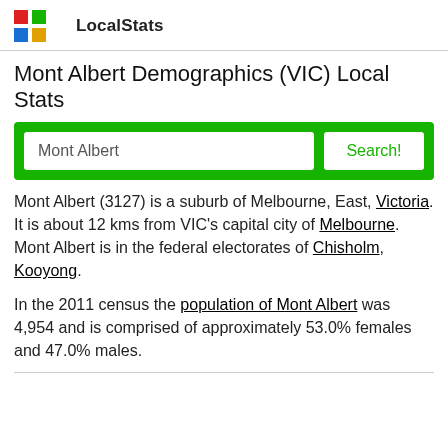Qpzm LocalStats
Mont Albert Demographics (VIC) Local Stats
Mont Albert (3127) is a suburb of Melbourne, East, Victoria. It is about 12 kms from VIC's capital city of Melbourne. Mont Albert is in the federal electorates of Chisholm, Kooyong.
In the 2011 census the population of Mont Albert was 4,954 and is comprised of approximately 53.0% females and 47.0% males.